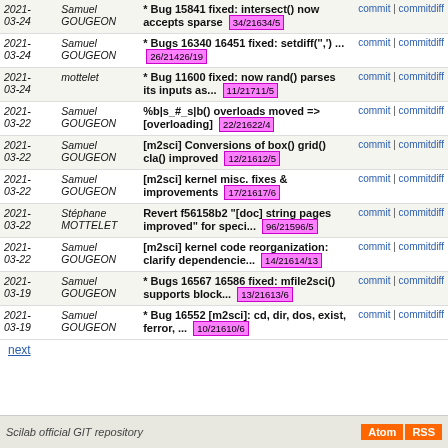| Date | Author | Message | Links |
| --- | --- | --- | --- |
| 2021-03-24 | Samuel GOUGEON | * Bug 15841 fixed: intersect() now accepts sparse 34/21634/5 | commit | commitdiff |
| 2021-03-24 | Samuel GOUGEON | * Bugs 16340 16451 fixed: setdiff('',') ... 26/21426/19 | commit | commitdiff |
| 2021-03-24 | mottelet | * Bug 11600 fixed: now rand() parses its inputs as... 11/21711/5 | commit | commitdiff |
| 2021-03-22 | Samuel GOUGEON | %b|s_#_s|b() overloads moved => [overloading] 22/21622/4 | commit | commitdiff |
| 2021-03-22 | Samuel GOUGEON | [m2sci] Conversions of box() grid() cla() improved 12/21612/5 | commit | commitdiff |
| 2021-03-22 | Samuel GOUGEON | [m2sci] kernel misc. fixes & improvements 17/21617/6 | commit | commitdiff |
| 2021-03-22 | Stéphane MOTTELET | Revert f56158b2 "[doc] string pages improved" for speci... 96/21596/5 | commit | commitdiff |
| 2021-03-22 | Samuel GOUGEON | [m2sci] kernel code reorganization: clarify dependencie... 14/21614/13 | commit | commitdiff |
| 2021-03-19 | Samuel GOUGEON | * Bugs 16567 16586 fixed: mfile2sci() supports block... 13/21613/6 | commit | commitdiff |
| 2021-03-19 | Samuel GOUGEON | * Bug 16552 [m2sci]: cd, dir, dos, exist, ferror, ... 10/21610/6 | commit | commitdiff |
next
Scilab official GIT repository  Atom  RSS